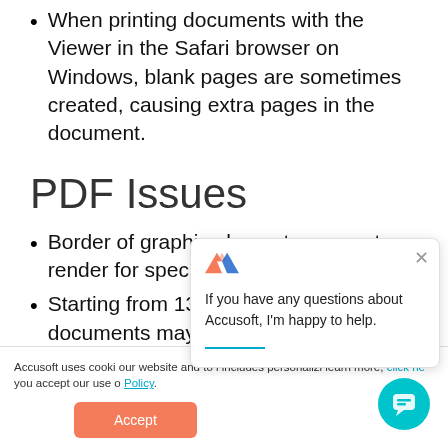When printing documents with the Viewer in the Safari browser on Windows, blank pages are sometimes created, causing extra pages in the document.
PDF Issues
Border of graphic elements may not render for specific PDF documents.
Starting from 13.6 release some PDF documents may render slightly shifted compared to
Accusoft uses cooki our website and to i includes personalizi learn more, click he you accept our use o Policy.
If you have any questions about Accusoft, I'm happy to help.